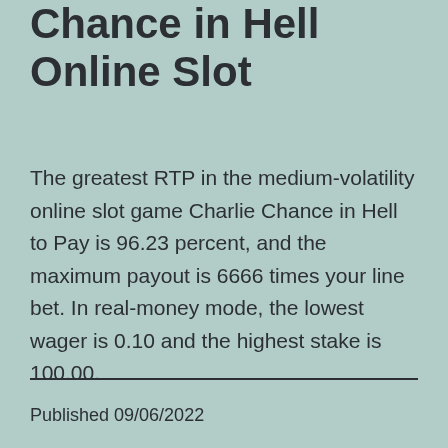Chance in Hell Online Slot
The greatest RTP in the medium-volatility online slot game Charlie Chance in Hell to Pay is 96.23 percent, and the maximum payout is 6666 times your line bet. In real-money mode, the lowest wager is 0.10 and the highest stake is 100.00.
Published 09/06/2022